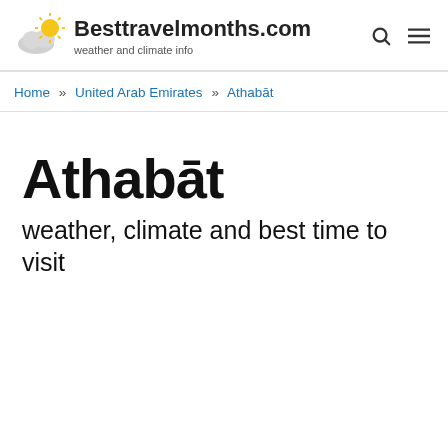Besttravelmonths.com — weather and climate info
Home » United Arab Emirates » Athabāt
Athabāt
weather, climate and best time to visit